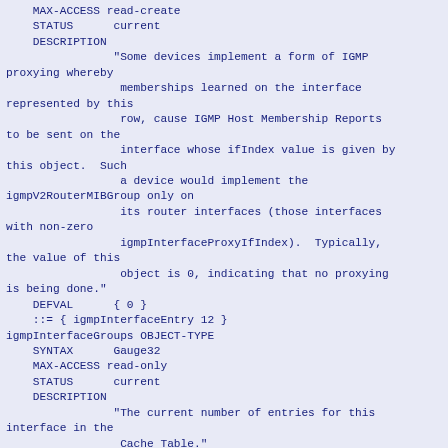MAX-ACCESS read-create
    STATUS      current
    DESCRIPTION
                "Some devices implement a form of IGMP proxying whereby
                 memberships learned on the interface represented by this
                 row, cause IGMP Host Membership Reports to be sent on the
                 interface whose ifIndex value is given by this object.  Such
                 a device would implement the igmpV2RouterMIBGroup only on
                 its router interfaces (those interfaces with non-zero
                 igmpInterfaceProxyIfIndex).  Typically, the value of this
                 object is 0, indicating that no proxying is being done."
    DEFVAL      { 0 }
    ::= { igmpInterfaceEntry 12 }
igmpInterfaceGroups OBJECT-TYPE
    SYNTAX      Gauge32
    MAX-ACCESS read-only
    STATUS      current
    DESCRIPTION
                "The current number of entries for this interface in the
                 Cache Table."
    ::= { igmpInterfaceEntry 13 }
igmpInterfaceRobustness OBJECT-TYPE